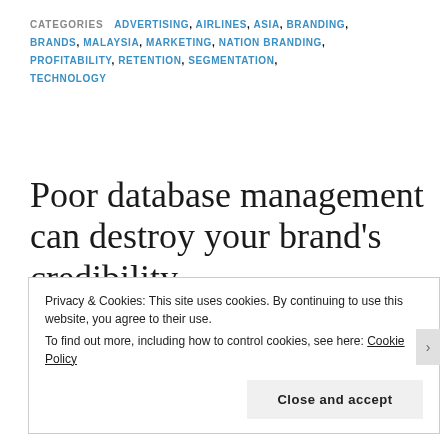CATEGORIES  ADVERTISING, AIRLINES, ASIA, BRANDING, BRANDS, MALAYSIA, MARKETING, NATION BRANDING, PROFITABILITY, RETENTION, SEGMENTATION, TECHNOLOGY
Poor database management can destroy your brand's credibility
Privacy & Cookies: This site uses cookies. By continuing to use this website, you agree to their use.
To find out more, including how to control cookies, see here: Cookie Policy
Close and accept